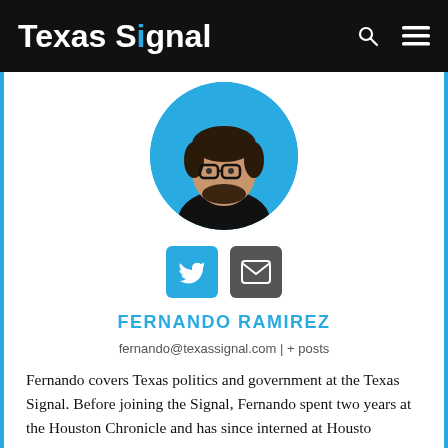Texas Signal
[Figure (photo): Circular profile photo of Fernando Ramirez on a blue background. Man with glasses, beard, wearing a black shirt.]
[Figure (infographic): Two social media buttons: a blue Twitter bird icon button and a dark grey email envelope icon button.]
FERNANDO RAMIREZ
fernando@texassignal.com | + posts
Fernando covers Texas politics and government at the Texas Signal. Before joining the Signal, Fernando spent two years at the Houston Chronicle and has since interned at Houston...